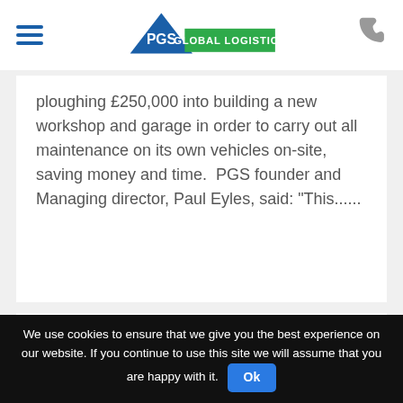[Figure (logo): PGS Global Logistics logo with blue triangle and green banner]
ploughing £250,000 into building a new workshop and garage in order to carry out all maintenance on its own vehicles on-site, saving money and time. PGS founder and Managing director, Paul Eyles, said: "This......
[Figure (photo): Partial view of a PGS truck or vehicle with trees in background]
We use cookies to ensure that we give you the best experience on our website. If you continue to use this site we will assume that you are happy with it.